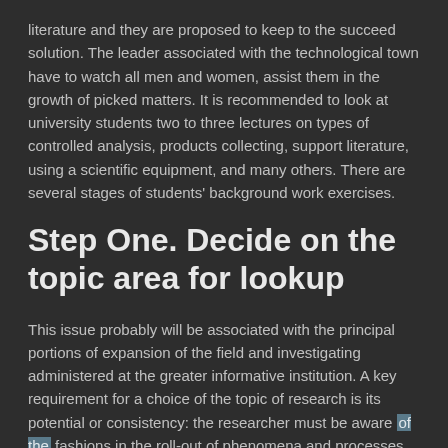literature and they are proposed to keep to the succeed solution. The leader associated with the technological town have to watch all men and women, assist them in the growth of picked matters. It is recommended to look at university students two to three lectures on types of controlled analysis, products collecting, support literature, using a scientific equipment, and many others. There are several stages of students' background work exercises.
Step One. Decide on the topic area for lookup
This issue probably will be associated with the principal portions of expansion of the field and investigating administered at the greater informative institution. A key requirement for a choice of the topic of research is its potential or consistency: the researcher must be aware of the fashions in the roll-out of phenomena and processes that he